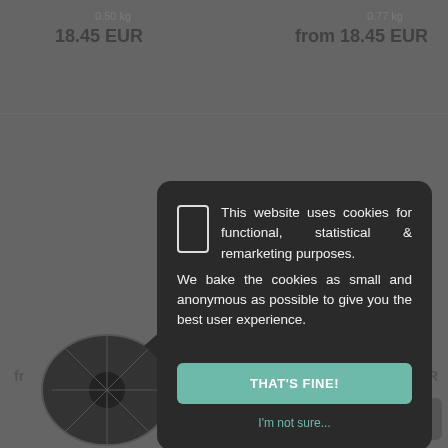0.50 kg
18.45  EUR
0.77 kg
from 18.45  EUR
This website uses cookies for functional, statistical & remarketing purposes. We bake the cookies as small and anonymous as possible to give you the best user experience.
THAT'S FINE!
I'm not sure...
fr...
Sav...
piracy
Tire
UR